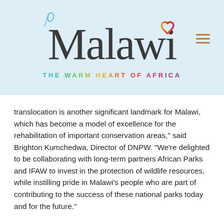[Figure (logo): Malawi Tourism logo with stylized script 'Malawi' text with a heart symbol, tagline 'THE WARM HEART OF AFRICA' in gradient colors, and hamburger menu icon, on a light blue background]
translocation is another significant landmark for Malawi, which has become a model of excellence for the rehabilitation of important conservation areas," said Brighton Kumchedwa, Director of DNPW. "We're delighted to be collaborating with long-term partners African Parks and IFAW to invest in the protection of wildlife resources, while instilling pride in Malawi's people who are part of contributing to the success of these national parks today and for the future."
In 2015, DNPW partnered with African Parks to improve security and ecologically rehabilitate Liwonde National Park for people and wildlife, and to realise its full tourism